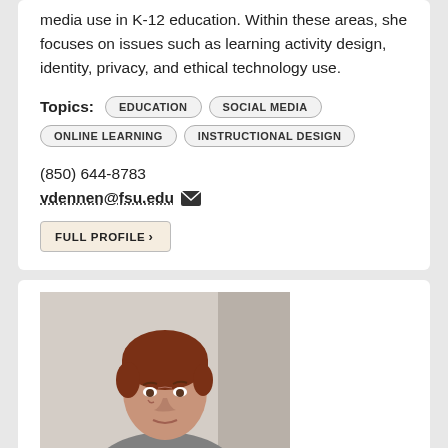media use in K-12 education. Within these areas, she focuses on issues such as learning activity design, identity, privacy, and ethical technology use.
Topics: EDUCATION  SOCIAL MEDIA  ONLINE LEARNING  INSTRUCTIONAL DESIGN
(850) 644-8783
vdennen@fsu.edu
FULL PROFILE
[Figure (photo): Portrait photo of a woman with short reddish-brown hair, looking slightly down, in a professional setting.]